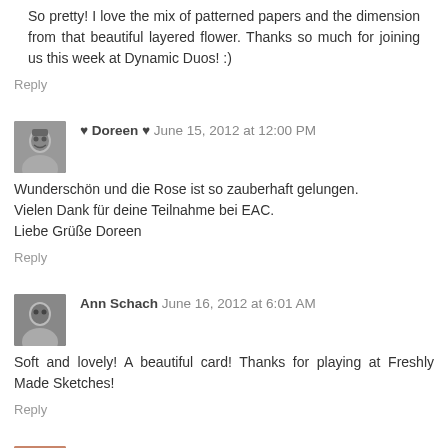So pretty! I love the mix of patterned papers and the dimension from that beautiful layered flower. Thanks so much for joining us this week at Dynamic Duos! :)
Reply
♥ Doreen ♥  June 15, 2012 at 12:00 PM
Wunderschön und die Rose ist so zauberhaft gelungen.
Vielen Dank für deine Teilnahme bei EAC.
Liebe Grüße Doreen
Reply
Ann Schach  June 16, 2012 at 6:01 AM
Soft and lovely! A beautiful card! Thanks for playing at Freshly Made Sketches!
Reply
Elise  June 16, 2012 at 11:21 AM